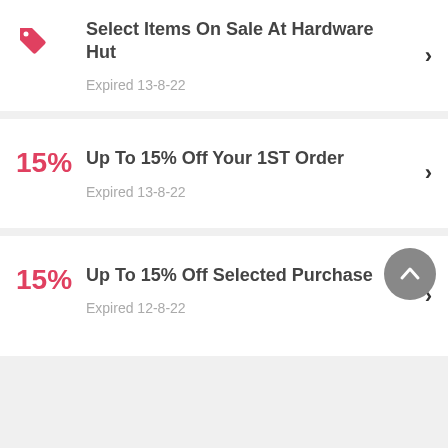Select Items On Sale At Hardware Hut
Expired 13-8-22
15% Up To 15% Off Your 1ST Order
Expired 13-8-22
15% Up To 15% Off Selected Purchase
Expired 12-8-22